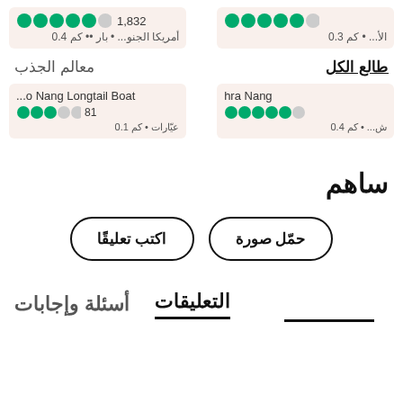1,832 ●●●●●◑  0.4 كم •• بار • أمريكا الجنو...
0.3 كم • الأ...  ●●●●●◑
طالع الكل
معالم الجذب
...o Nang Longtail Boat  81 ●●●○○  0.1 كم • عيّارات
hra Nang  ●●●●●○  0.4 كم • ش...
ساهم
اكتب تعليقًا
حمّل صورة
التعليقات  أسئلة وإجابات